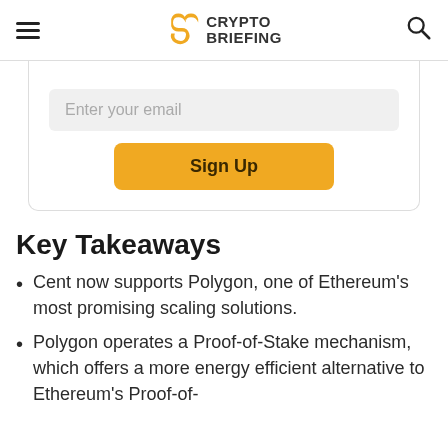Crypto Briefing
[Figure (other): Email signup form with 'Enter your email' input field and 'Sign Up' button]
Key Takeaways
Cent now supports Polygon, one of Ethereum's most promising scaling solutions.
Polygon operates a Proof-of-Stake mechanism, which offers a more energy efficient alternative to Ethereum's Proof-of-